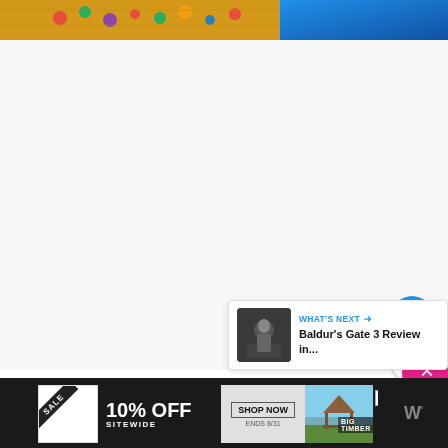[Figure (photo): Top image strip showing colorful knitted fabric in yellow with colored dots on left, and blue textured surface on right]
[Figure (screenshot): Large white/light gray content area occupying most of the page — embedded video or article content area]
[Figure (infographic): Blue circular like/favorite button with heart icon, count bubble showing '1', and pink scroll-to-top button with chevron-up icon]
[Figure (screenshot): WHAT'S NEXT card with thumbnail and text 'Baldur's Gate 3 Review in...']
[Figure (photo): Advertisement banner: SALE 10% OFF SITEWIDE SHOP NOW ENDS 8/31 BIG TIMBER with outdoor gazebo photo]
[Figure (logo): W logo in dark bar at bottom right]